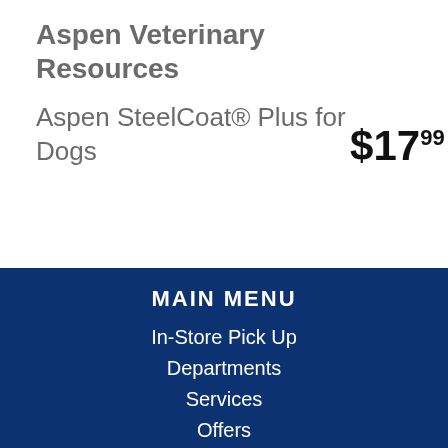Aspen Veterinary Resources
Aspen SteelCoat® Plus for Dogs
$17.99
MAIN MENU
In-Store Pick Up
Departments
Services
Offers